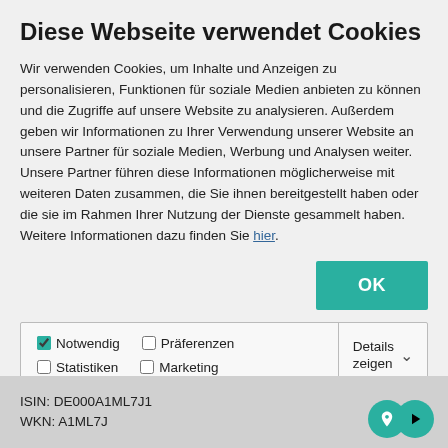Diese Webseite verwendet Cookies
Wir verwenden Cookies, um Inhalte und Anzeigen zu personalisieren, Funktionen für soziale Medien anbieten zu können und die Zugriffe auf unsere Website zu analysieren. Außerdem geben wir Informationen zu Ihrer Verwendung unserer Website an unsere Partner für soziale Medien, Werbung und Analysen weiter. Unsere Partner führen diese Informationen möglicherweise mit weiteren Daten zusammen, die Sie ihnen bereitgestellt haben oder die sie im Rahmen Ihrer Nutzung der Dienste gesammelt haben. Weitere Informationen dazu finden Sie hier.
OK
Notwendig  Präferenzen  Statistiken  Marketing  Details zeigen
ISIN: DE000A1ML7J1
WKN: A1ML7J